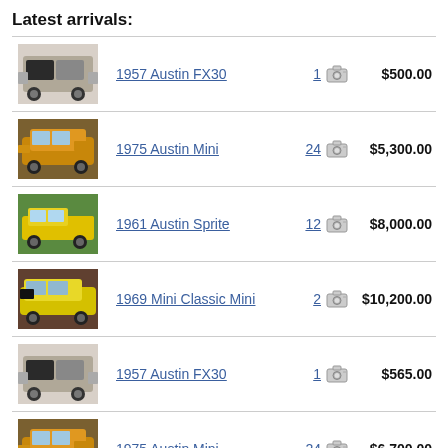Latest arrivals:
1957 Austin FX30 | 1 photo | $500.00
1975 Austin Mini | 24 photos | $5,300.00
1961 Austin Sprite | 12 photos | $8,000.00
1969 Mini Classic Mini | 2 photos | $10,200.00
1957 Austin FX30 | 1 photo | $565.00
1975 Austin Mini | 24 photos | $6,700.00